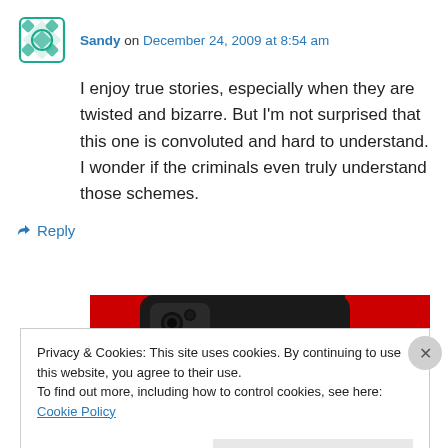Sandy on December 24, 2009 at 8:54 am
I enjoy true stories, especially when they are twisted and bizarre. But I'm not surprised that this one is convoluted and hard to understand. I wonder if the criminals even truly understand those schemes.
↳ Reply
[Figure (photo): Photo of a red smartphone showing camera area, on a red background]
Privacy & Cookies: This site uses cookies. By continuing to use this website, you agree to their use. To find out more, including how to control cookies, see here: Cookie Policy
Close and accept